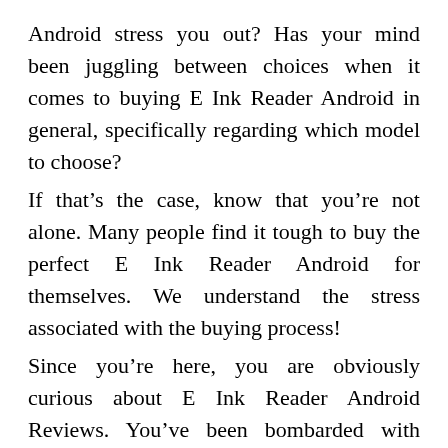Android stress you out? Has your mind been juggling between choices when it comes to buying E Ink Reader Android in general, specifically regarding which model to choose? If that’s the case, know that you’re not alone. Many people find it tough to buy the perfect E Ink Reader Android for themselves. We understand the stress associated with the buying process! Since you’re here, you are obviously curious about E Ink Reader Android Reviews. You’ve been bombarded with information, so you need to find a reputable source with credible options before you make any decisions on which product would be best for your needs. There are many sources that’ll provide you with that information- buying guides or ratings websites, word-of-mouth testimonials from friends or family members, online forums where users share their personal experiences, product reviews specifically found all over the internet and YouTube channels.